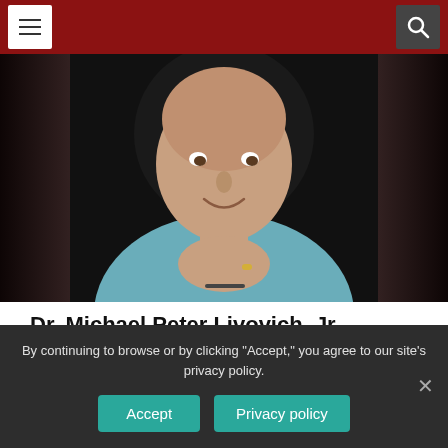Navigation header with menu and search buttons
[Figure (photo): Portrait photo of Dr. Michael Peter Livovich Jr., a bald man in a light blue shirt, hands clasped under his chin, smiling, against a dark background with blurred sides]
Dr. Michael Peter Livovich, Jr.
Audio Article
By continuing to browse or by clicking "Accept," you agree to our site's privacy policy.
Accept   Privacy policy